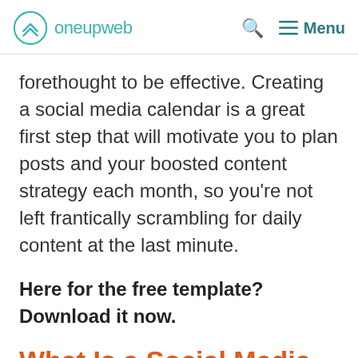oneupweb | Menu
forethought to be effective. Creating a social media calendar is a great first step that will motivate you to plan posts and your boosted content strategy each month, so you’re not left frantically scrambling for daily content at the last minute.
Here for the free template? Download it now.
What Is a Social Media Calendar?